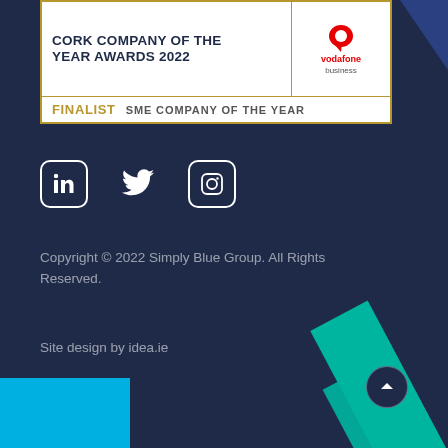[Figure (logo): Cork Company of the Year Awards 2022 finalist badge – white box with gold border. Left cell: 'CORK COMPANY OF THE YEAR AWARDS 2022' in dark navy bold uppercase. Right cell: Vodafone Business logo in red. Bottom row: 'FINALIST  SME COMPANY OF THE YEAR' in gold and grey.]
[Figure (illustration): Three white social media icons on dark navy background: LinkedIn (in square rounded box), Twitter (bird), Instagram (camera in square rounded box).]
Copyright © 2022 Simply Blue Group. All Rights Reserved.
Site design by idea.ie